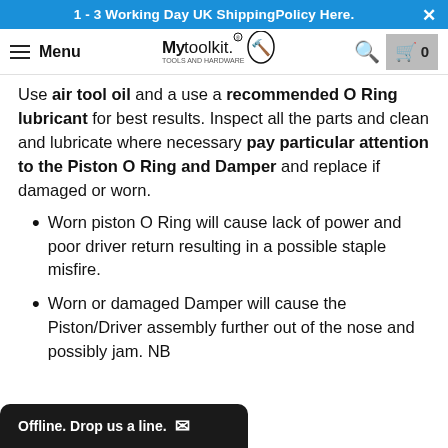1 - 3 Working Day UK ShippingPolicy Here.
[Figure (logo): MyToolkit logo with navigation bar including hamburger menu, search icon, and cart showing 0 items]
Use air tool oil and a use a recommended O Ring lubricant for best results. Inspect all the parts and clean and lubricate where necessary pay particular attention to the Piston O Ring and Damper and replace if damaged or worn.
Worn piston O Ring will cause lack of power and poor driver return resulting in a possible staple misfire.
Worn or damaged Damper will cause the Piston/Driver assembly further out of the nose and possibly jam. NB